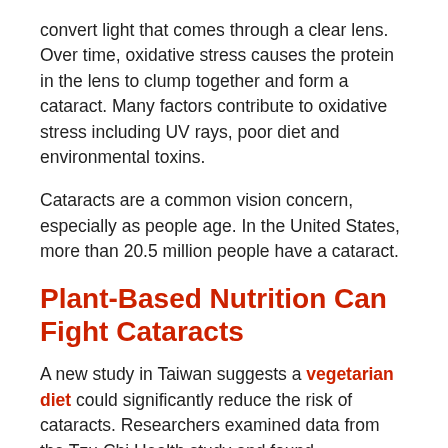convert light that comes through a clear lens. Over time, oxidative stress causes the protein in the lens to clump together and form a cataract. Many factors contribute to oxidative stress including UV rays, poor diet and environmental toxins.
Cataracts are a common vision concern, especially as people age. In the United States, more than 20.5 million people have a cataract.
Plant-Based Nutrition Can Fight Cataracts
A new study in Taiwan suggests a vegetarian diet could significantly reduce the risk of cataracts. Researchers examined data from the Tzu Chi Health study and found